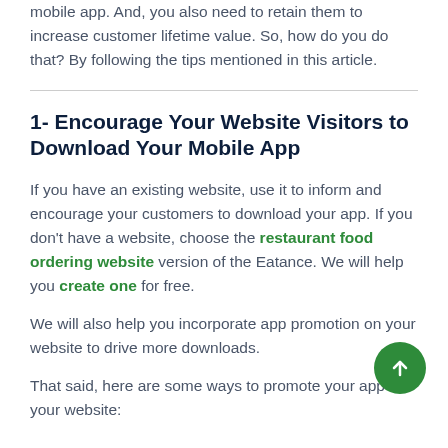mobile app. And, you also need to retain them to increase customer lifetime value. So, how do you do that? By following the tips mentioned in this article.
1- Encourage Your Website Visitors to Download Your Mobile App
If you have an existing website, use it to inform and encourage your customers to download your app. If you don't have a website, choose the restaurant food ordering website version of the Eatance. We will help you create one for free.
We will also help you incorporate app promotion on your website to drive more downloads.
That said, here are some ways to promote your app on your website: